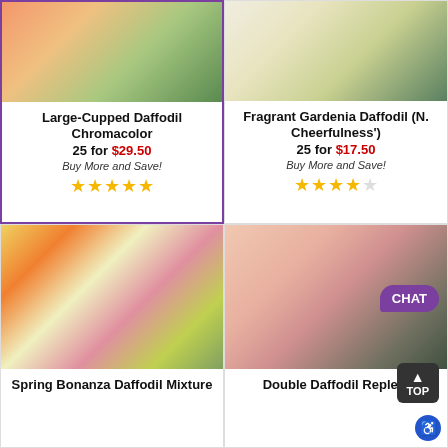[Figure (photo): Flower photo - Large-Cupped Daffodil Chromacolor]
Large-Cupped Daffodil Chromacolor
25 for $29.50
Buy More and Save!
[Figure (photo): Flower photo - Fragrant Gardenia Daffodil (N. Cheerfulness')]
Fragrant Gardenia Daffodil (N. Cheerfulness')
25 for $17.50
Buy More and Save!
[Figure (photo): Flower photo - Spring Bonanza Daffodil Mixture]
Spring Bonanza Daffodil Mixture
[Figure (photo): Flower photo - Double Daffodil Replete]
Double Daffodil Replete